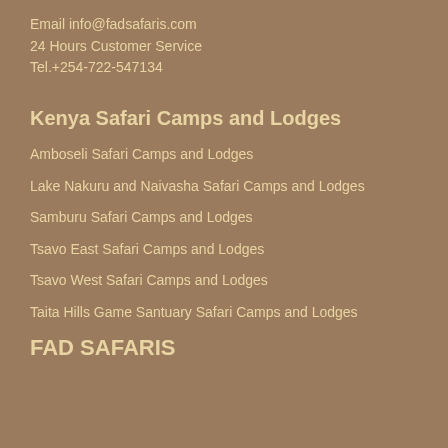Email info@fadsafaris.com
24 Hours Customer Service
Tel.+254-722-547134
Kenya Safari Camps and Lodges
Amboseli Safari Camps and Lodges
Lake Nakuru and Naivasha Safari Camps and Lodges
Samburu Safari Camps and Lodges
Tsavo East Safari Camps and Lodges
Tsavo West Safari Camps and Lodges
Taita Hills Game Santuary Safari Camps and Lodges
FAD SAFARIS